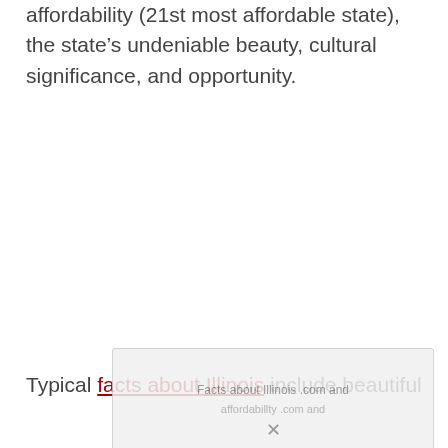affordability (21st most affordable state), the state's undeniable beauty, cultural significance, and opportunity.
Typical facts about Illinois include beautiful